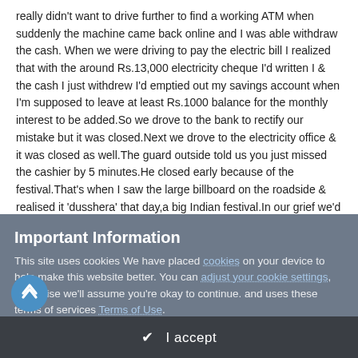really didn't want to drive further to find a working ATM when suddenly the machine came back online and I was able withdraw the cash. When we were driving to pay the electric bill I realized that with the around Rs.13,000 electricity cheque I'd written I & the cash I just withdrew I'd emptied out my savings account when I'm supposed to leave at least Rs.1000 balance for the monthly interest to be added.So we drove to the bank to rectify our mistake but it was closed.Next we drove to the electricity office & it was closed as well.The guard outside told us you just missed the cashier by 5 minutes.He closed early because of the festival.That's when I saw the large billboard on the roadside & realised it 'dusshera' that day,a big Indian festival.In our grief we'd totally forgotten about it.How stupid can you get,I thought to myself,Who goes out to run errands on a big holiday.
So we just drove back home.Since I was in no mood to out again the next day,I gave the bill to my cousin & told him to deposit it for me.He was a little amused as he pointed out
Important Information
This site uses cookies We have placed cookies on your device to help make this website better. You can adjust your cookie settings, otherwise we'll assume you're okay to continue. and uses these terms of services Terms of Use.